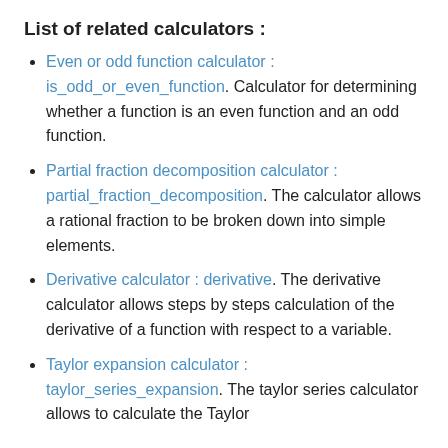List of related calculators :
Even or odd function calculator : is_odd_or_even_function. Calculator for determining whether a function is an even function and an odd function.
Partial fraction decomposition calculator : partial_fraction_decomposition. The calculator allows a rational fraction to be broken down into simple elements.
Derivative calculator : derivative. The derivative calculator allows steps by steps calculation of the derivative of a function with respect to a variable.
Taylor expansion calculator : taylor_series_expansion. The taylor series calculator allows to calculate the Taylor